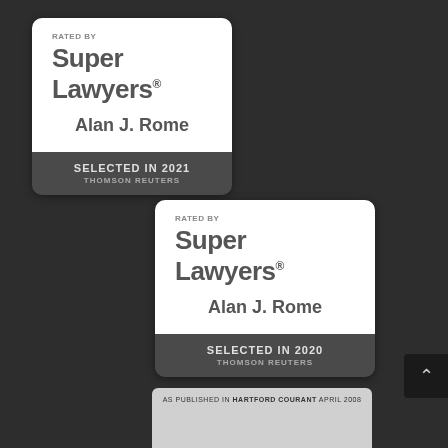[Figure (logo): Super Lawyers badge for Alan J. Rome, Selected in 2021, Thomson Reuters]
[Figure (logo): Super Lawyers badge for Alan J. Rome, Selected in 2020, Thomson Reuters]
[Figure (logo): Partial view of Hartford Courant April 2008 publication badge at bottom of page]